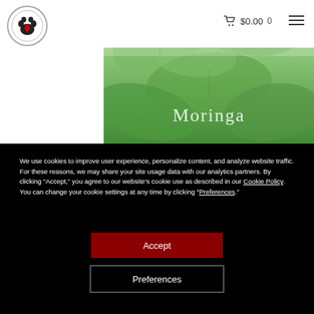$0.00  0
[Figure (photo): Close-up of green Moringa leaves with the word 'Moringa' overlaid in light serif text]
We use cookies to improve user experience, personalize content, and analyze website traffic. For these reasons, we may share your site usage data with our analytics partners. By clicking “Accept,” you agree to our website’s cookie use as described in our Cookie Policy. You can change your cookie settings at any time by clicking “Preferences.”
Accept
Preferences